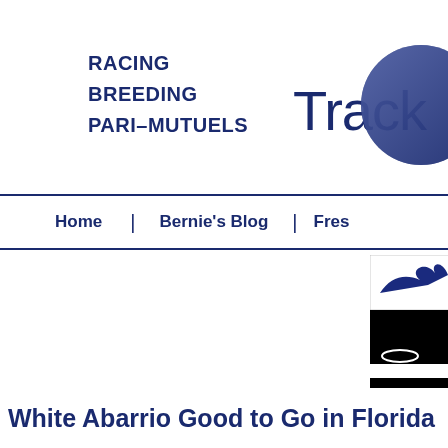RACING
BREEDING
PARI-MUTUELS
[Figure (logo): Track logo with circular emblem partially visible at right edge]
Home | Bernie's Blog | Fres...
[Figure (infographic): Gulfstream Park Races Spring//Summer Meet April - September, Racing / Thursday - Sunday advertisement banner]
White Abarrio Good to Go in Florida